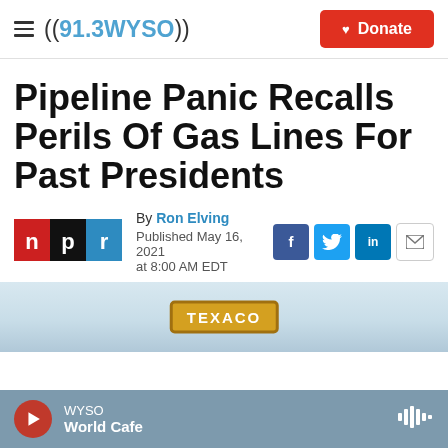((91.3 WYSO)) | Donate
Pipeline Panic Recalls Perils Of Gas Lines For Past Presidents
By Ron Elving
Published May 16, 2021 at 8:00 AM EDT
[Figure (photo): Texaco gas station sign against sky]
WYSO World Cafe (audio player bar)